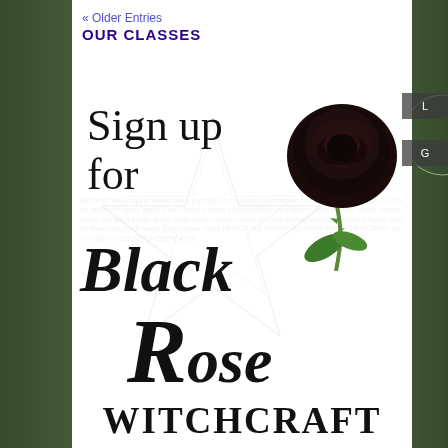« Older Entries
OUR CLASSES
[Figure (illustration): Promotional poster for Black Rose Witchcraft classes. Features a large black rose photograph in the upper right, decorative script text reading 'Sign up for Black Rose' with a faint pentagram/star watermark background, and bold block letters spelling 'WITCHCRAFT' at the bottom.]